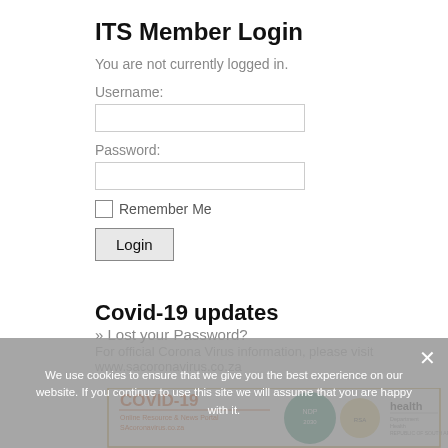ITS Member Login
You are not currently logged in.
Username:
Password:
Remember Me
Login
» Lost your Password?
Covid-19 updates
For official Corona Virus information, please visit www.sacoronavirus.co.za
[Figure (screenshot): COVID-19 Online Resource & News Portal banner with SAcoronavirus.co.za logo, NDP 2030 logo, Department of Health Republic of South Africa logo]
We use cookies to ensure that we give you the best experience on our website. If you continue to use this site we will assume that you are happy with it.